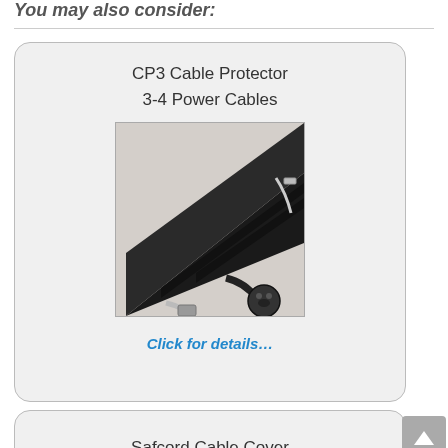You may also consider:
CP3 Cable Protector
3-4 Power Cables
[Figure (photo): Photo of a black cable protector ramp with power cables and a USB cable inserted underneath it]
Click for details…
Safcord Cable Cover
3 Power Cables